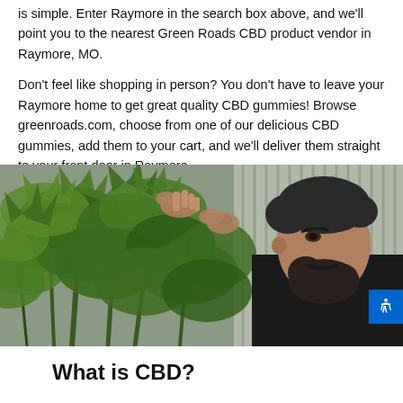is simple. Enter Raymore in the search box above, and we'll point you to the nearest Green Roads CBD product vendor in Raymore, MO.
Don't feel like shopping in person? You don't have to leave your Raymore home to get great quality CBD gummies! Browse greenroads.com, choose from one of our delicious CBD gummies, add them to your cart, and we'll deliver them straight to your front door in Raymore.
[Figure (photo): A bearded man with dark hair examines a tall cannabis hemp plant, holding a branch and looking upward. The background shows a corrugated metal wall. Outdoor daytime setting.]
What is CBD?